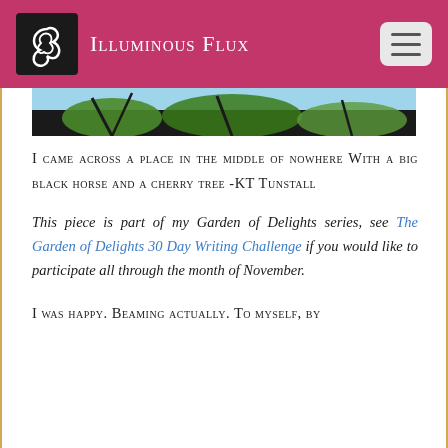Illuminous Flux
[Figure (photo): Partial view of a photo showing sky and tree branches/foliage at the top of the content area]
I CAME ACROSS A PLACE IN THE MIDDLE OF NOWHERE WITH A BIG BLACK HORSE AND A CHERRY TREE -KT Tunstall
This piece is part of my Garden of Delights series, see The Garden of Delights 30 Day Writing Challenge if you would like to participate all through the month of November.
I was happy. Beaming actually. To myself, by